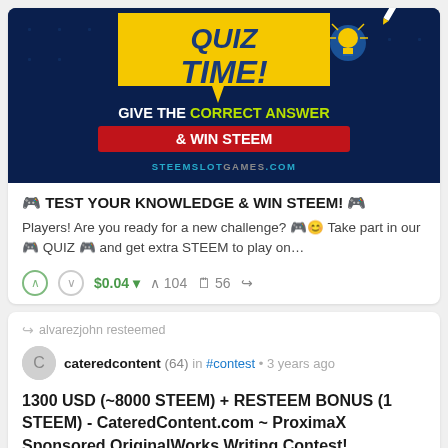[Figure (illustration): Quiz Time promotional banner with dark blue background, yellow speech bubble saying QUIZ TIME!, text GIVE THE CORRECT ANSWER & WIN STEEM, and STEEMSLOTGAMES.COM branding]
🎮 TEST YOUR KNOWLEDGE & WIN STEEM! 🎮
Players! Are you ready for a new challenge? 🎮😊 Take part in our 🎮 QUIZ 🎮 and get extra STEEM to play on…
$0.04 ▾   104   56
alvarezjohn resteemed
cateredcontent (64) in #contest • 3 years ago
1300 USD (~8000 STEEM) + RESTEEM BONUS (1 STEEM) - CateredContent.com ~ ProximaX Sponsored OriginalWorks Writing Contest!